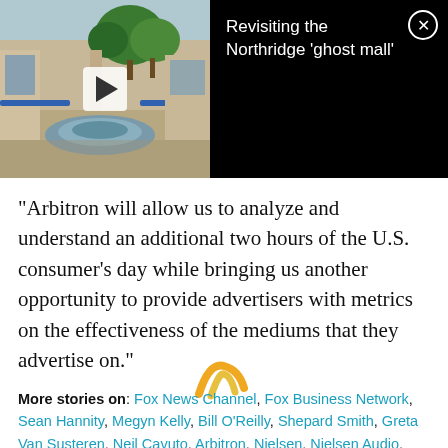[Figure (screenshot): Video thumbnail showing an abandoned mall interior with trees and a play button overlay, alongside a dark panel with the title 'Revisiting the Northridge ghost mall' and a close (X) button]
"Arbitron will allow us to analyze and understand an additional two hours of the U.S. consumer's day while bringing us another opportunity to provide advertisers with metrics on the effectiveness of the mediums that they advertise on."
[Figure (logo): Nielsen Audio arc logo in yellow/gold color]
More stories on: Fox News Channel, Fox Business Network, Sean Hannity, Megyn Kelly, Bill O'Reilly, Shepard Smith, Greta Van Susteren, Neil Cavuto, Arbitron, Nielsen, Nielsen Audio, ratings